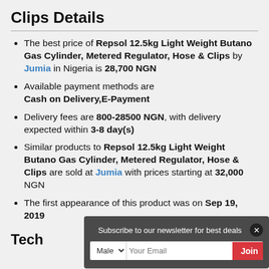Clips Details
The best price of Repsol 12.5kg Light Weight Butano Gas Cylinder, Metered Regulator, Hose & Clips by Jumia in Nigeria is 28,700 NGN
Available payment methods are Cash on Delivery,E-Payment
Delivery fees are 800-28500 NGN, with delivery expected within 3-8 day(s)
Similar products to Repsol 12.5kg Light Weight Butano Gas Cylinder, Metered Regulator, Hose & Clips are sold at Jumia with prices starting at 32,000 NGN
The first appearance of this product was on Sep 19, 2019
Tech
Subscribe to our newsletter for best deals